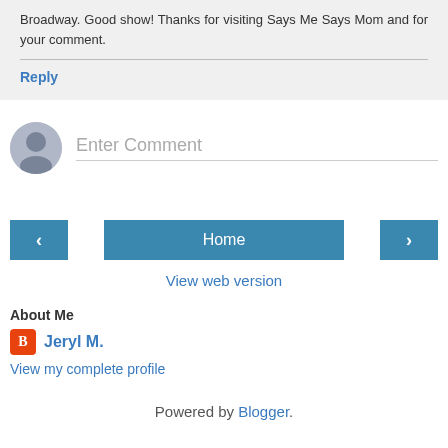Broadway. Good show! Thanks for visiting Says Me Says Mom and for your comment.
Reply
Enter Comment
Home
View web version
About Me
Jeryl M.
View my complete profile
Powered by Blogger.